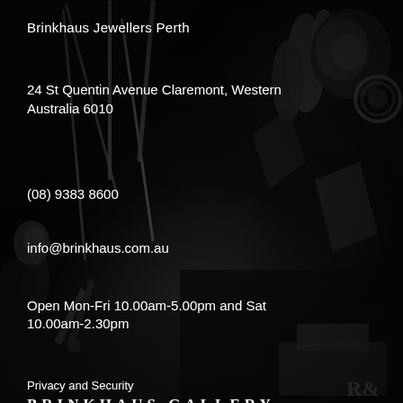[Figure (photo): Black and white photo of jewellery workshop tools and equipment in the background]
Brinkhaus Jewellers Perth
24 St Quentin Avenue Claremont, Western Australia 6010
(08) 9383 8600
info@brinkhaus.com.au
Open Mon-Fri 10.00am-5.00pm and Sat 10.00am-2.30pm
BRINKHAUS GALLERY
BRINKHAUS BLOG
TERMS OF SERVICE
REFUND POLICY
Privacy and Security